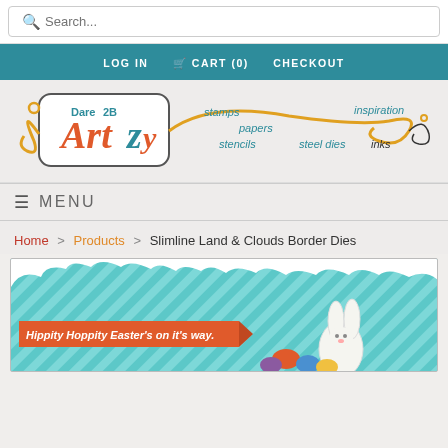Search...
LOG IN   CART (0)   CHECKOUT
[Figure (logo): Dare 2B Artzy logo with decorative swirls and text: stamps, papers, stencils, steel dies, inspiration, inks]
≡ MENU
Home > Products > Slimline Land & Clouds Border Dies
[Figure (photo): Easter themed product image with teal diagonal stripes, white cloud border die cut at top, orange banner reading 'Hippity Hoppity Easter's on it's way.' and Easter bunny with colored eggs]